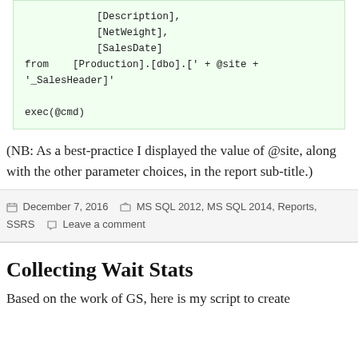[Description],
            [NetWeight],
            [SalesDate]
from    [Production].[dbo][' + @site +
'_SalesHeader]'

exec(@cmd)
(NB: As a best-practice I displayed the value of @site, along with the other parameter choices, in the report sub-title.)
December 7, 2016  Categories: MS SQL 2012, MS SQL 2014, Reports, SSRS  Leave a comment
Collecting Wait Stats
Based on the work of GS, here is my script to create